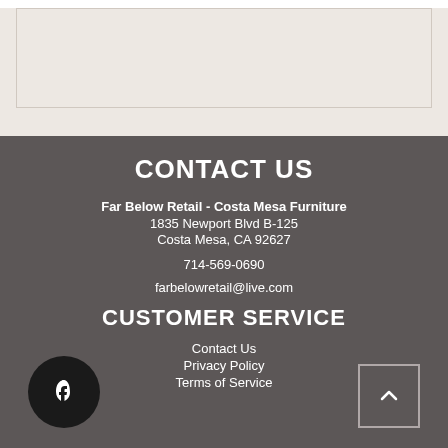[Figure (other): Light beige/cream colored box with border — top section of a webpage showing a product or content area]
CONTACT US
Far Below Retail - Costa Mesa Furniture
1835 Newport Blvd B-125
Costa Mesa, CA 92627
714-569-0690
farbelowretail@live.com
CUSTOMER SERVICE
Contact Us
Privacy Policy
Terms of Service